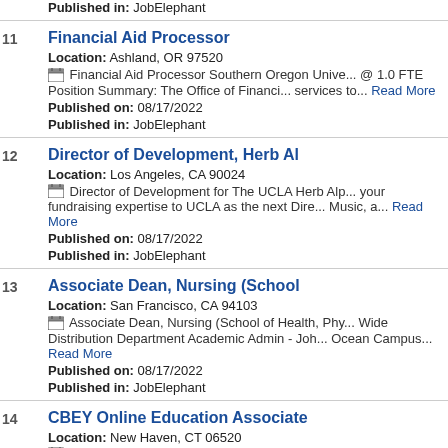Published in: JobElephant
11 Financial Aid Processor
Location: Ashland, OR 97520
Financial Aid Processor Southern Oregon University @ 1.0 FTE Position Summary: The Office of Financial Aid provides services to... Read More
Published on: 08/17/2022
Published in: JobElephant
12 Director of Development, Herb Al
Location: Los Angeles, CA 90024
Director of Development for The UCLA Herb Alp... your fundraising expertise to UCLA as the next Director of Music, a... Read More
Published on: 08/17/2022
Published in: JobElephant
13 Associate Dean, Nursing (School
Location: San Francisco, CA 94103
Associate Dean, Nursing (School of Health, Phy... Wide Distribution Department Academic Admin - Job... Ocean Campus... Read More
Published on: 08/17/2022
Published in: JobElephant
14 CBEY Online Education Associate
Location: New Haven, CT 06520
CBEY Online Education Associate University Jo...